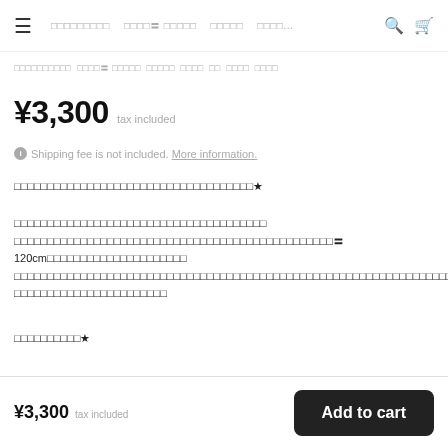≡ □□□□□□□□□ □□□□ □□□□□ □□□□□ □□□□... 🔍 🛒
□□□□□□□□□□ □□□□ □□□□□ □□□□□ □□□□ □□ □□□□ □□□□
¥3,300 tax included
ℹ Shipping fee is not included. More information.
□□□□□□□□□□□□□□□□□□□□□□□□□□□□□□□□□□□□★
□□□□□□□□□□□□□□□□□□□□□□□□□□□□□□□□□□□□□□□□□□□□□□□□□□□□□□□□□□□□□□□□□□□□□□□□□□□□□□□□□□□□□□□□□□□120cm□□□□□□□□□□□□□□□□□□□□□□□□□□□□□□□□□□□□□□□□□□□□□□□□□□□□□□□□□□□□□□□□□□□□□□□□□□□□□□□□□□□□□□□□□□□□□□□□□□□□□□□□□□□□□□□□□□□□□□□□□□□□□□□□□□□□□□□□□□□□□□□□□□□□□□□□□□□□□□□□□□□□□□□□□□□
□□□□□□□□□□★
¥3,300 tax included  Add to cart